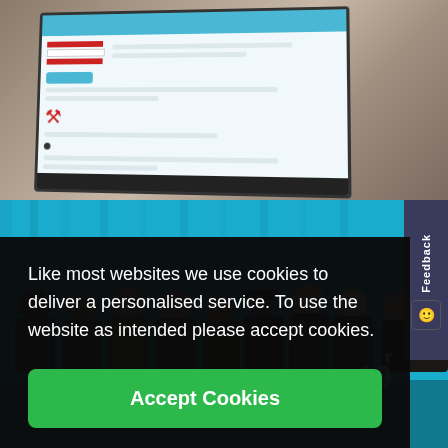[Figure (screenshot): Tablet device showing a web application interface with a blue header bar, Lebanese flag icon, and form content on a light blue background]
[Figure (photo): Group photo of approximately 10-12 people standing in front of a bright blue curtain/backdrop, smiling at the camera]
Like most websites we use cookies to deliver a personalised service. To use the website as intended please accept cookies.
Accept Cookies